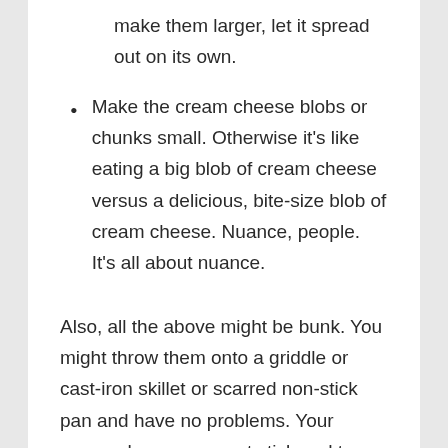make them larger, let it spread out on its own.
Make the cream cheese blobs or chunks small. Otherwise it's like eating a big blob of cream cheese versus a delicious, bite-size blob of cream cheese. Nuance, people. It's all about nuance.
Also, all the above might be bunk. You might throw them onto a griddle or cast-iron skillet or scarred non-stick pan and have no problems. Your cream cheese may not stick and tear